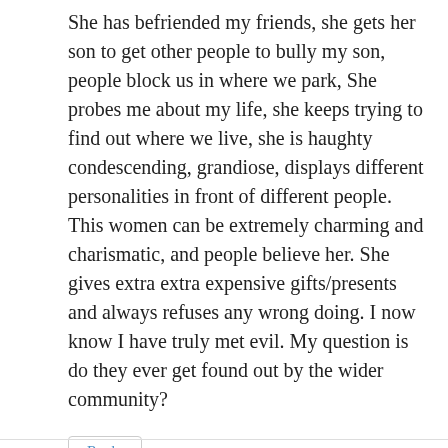She has befriended my friends, she gets her son to get other people to bully my son, people block us in where we park, She probes me about my life, she keeps trying to find out where we live, she is haughty condescending, grandiose, displays different personalities in front of different people. This women can be extremely charming and charismatic, and people believe her. She gives extra extra expensive gifts/presents and always refuses any wrong doing. I now know I have truly met evil. My question is do they ever get found out by the wider community?
Reply